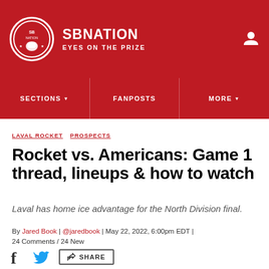SB NATION | EYES ON THE PRIZE
SECTIONS | FANPOSTS | MORE
LAVAL ROCKET  PROSPECTS
Rocket vs. Americans: Game 1 thread, lineups & how to watch
Laval has home ice advantage for the North Division final.
By Jared Book | @jaredbook | May 22, 2022, 6:00pm EDT | 24 Comments / 24 New
[Figure (other): Social share icons: Facebook, Twitter, and Share button]